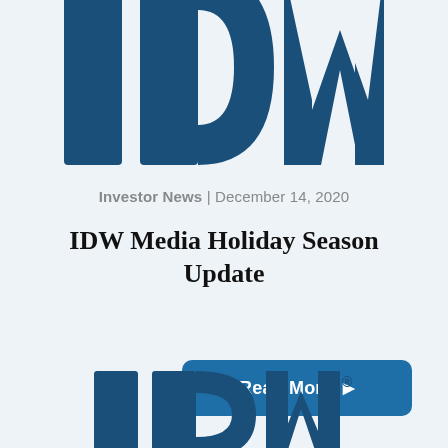[Figure (logo): IDW logo in large dark blue bold letters, partially cropped at top]
Investor News | December 14, 2020
IDW Media Holiday Season Update
[Figure (other): Read More button with right-pointing arrow, blue rounded rectangle]
[Figure (logo): IDW logo with registered trademark symbol, partially cropped at bottom]